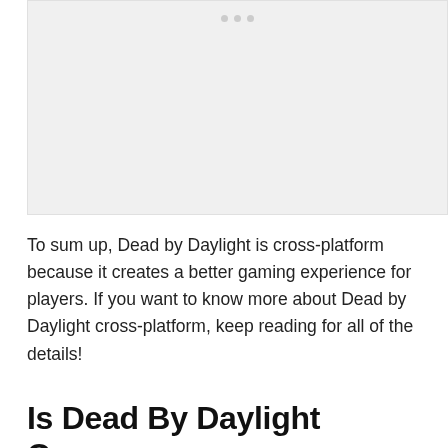[Figure (other): Placeholder image area with three small dots at top center, light gray background]
To sum up, Dead by Daylight is cross-platform because it creates a better gaming experience for players. If you want to know more about Dead by Daylight cross-platform, keep reading for all of the details!
Is Dead By Daylight Cross-